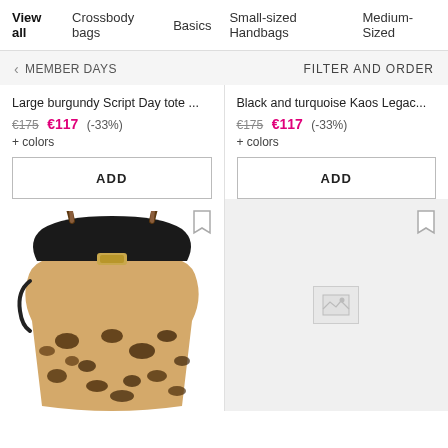View all  Crossbody bags  Basics  Small-sized Handbags  Medium-Sized
< MEMBER DAYS
FILTER AND ORDER
Large burgundy Script Day tote ...
€175  €117  (-33%)
+ colors
ADD
Black and turquoise Kaos Legac...
€175  €117  (-33%)
+ colors
ADD
[Figure (photo): Leopard print handbag with black leather top and braided handles, gold clasp hardware]
[Figure (photo): Loading/placeholder image for second product]